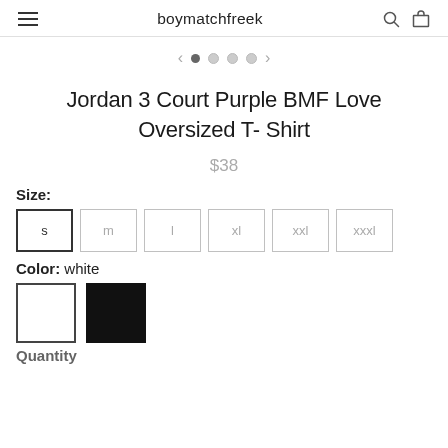boymatchfreek
[Figure (other): Carousel navigation with left arrow, 4 dots (first filled/active), right arrow]
Jordan 3 Court Purple BMF Love Oversized T- Shirt
$38
Size:
s  m  l  xl  xxl  xxxl
Color: white
[Figure (other): Two color swatches: white (selected, with border) and black]